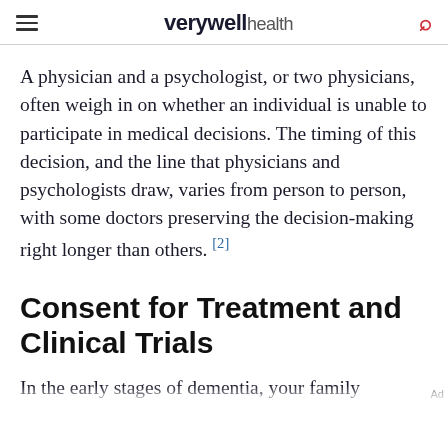verywell health
A physician and a psychologist, or two physicians, often weigh in on whether an individual is unable to participate in medical decisions. The timing of this decision, and the line that physicians and psychologists draw, varies from person to person, with some doctors preserving the decision-making right longer than others.[2]
Consent for Treatment and Clinical Trials
In the early stages of dementia, your family